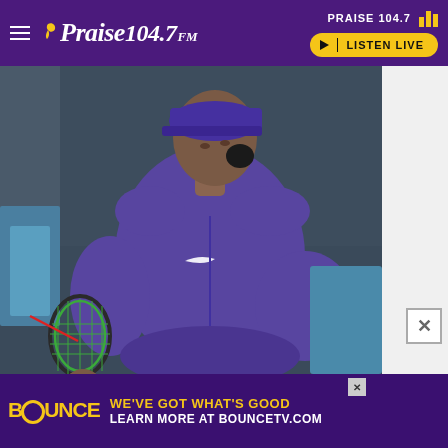PRAISE 104.7 | LISTEN LIVE
[Figure (photo): Woman in purple Nike tennis outfit holding a green tennis racket, looking sideways on a tennis court. Purple cap, athletic pose with hand on hip.]
[Figure (logo): BOUNCE TV advertisement banner: 'WE'VE GOT WHAT'S GOOD - LEARN MORE AT BOUNCETV.COM' in yellow and white text on purple background]